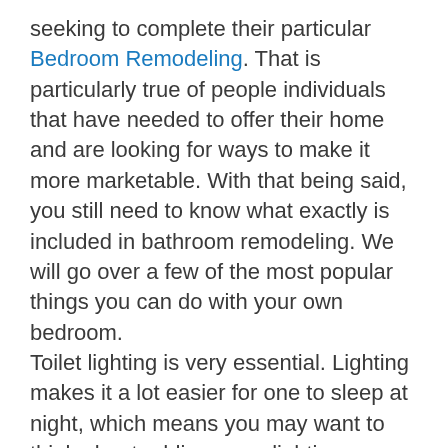seeking to complete their particular Bedroom Remodeling. That is particularly true of people individuals that have needed to offer their home and are looking for ways to make it more marketable. With that being said, you still need to know what exactly is included in bathroom remodeling. We will go over a few of the most popular things you can do with your own bedroom. Toilet lighting is very essential. Lighting makes it a lot easier for one to sleep at night, which means you may want to think about adding more lighting fixtures throughout the room. It is also possible to go along with a complete makeover and exchange all of your old bedding together with fresh bedding.